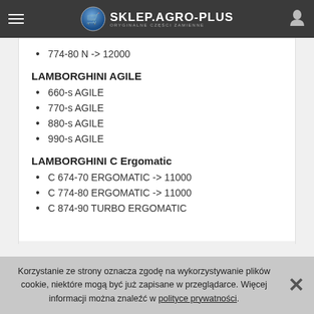SKLEP.AGRO-PLUS — ORYGINALNE CZĘŚCI ZAMIENNE
774-80 N -> 12000
LAMBORGHINI AGILE
660-s AGILE
770-s AGILE
880-s AGILE
990-s AGILE
LAMBORGHINI C Ergomatic
C 674-70 ERGOMATIC -> 11000
C 774-80 ERGOMATIC -> 11000
C 874-90 TURBO ERGOMATIC
Korzystanie ze strony oznacza zgodę na wykorzystywanie plików cookie, niektóre mogą być już zapisane w przeglądarce. Więcej informacji można znaleźć w polityce prywatności.